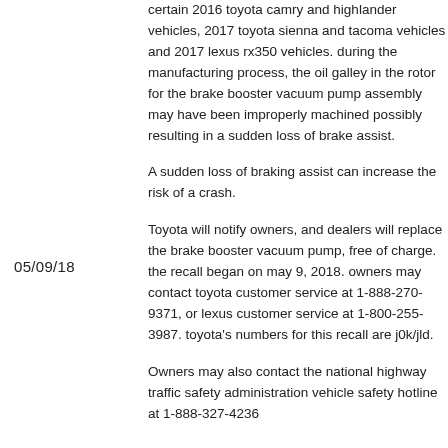certain 2016 toyota camry and highlander vehicles, 2017 toyota sienna and tacoma vehicles and 2017 lexus rx350 vehicles. during the manufacturing process, the oil galley in the rotor for the brake booster vacuum pump assembly may have been improperly machined possibly resulting in a sudden loss of brake assist.
A sudden loss of braking assist can increase the risk of a crash.
05/09/18
Toyota will notify owners, and dealers will replace the brake booster vacuum pump, free of charge. the recall began on may 9, 2018. owners may contact toyota customer service at 1-888-270-9371, or lexus customer service at 1-800-255-3987. toyota's numbers for this recall are j0k/jld.
Owners may also contact the national highway traffic safety administration vehicle safety hotline at 1-888-327-4236